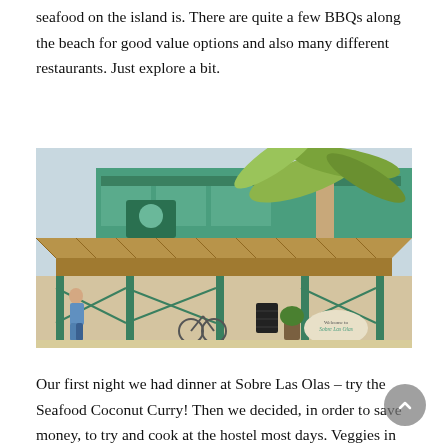seafood on the island is. There are quite a few BBQs along the beach for good value options and also many different restaurants. Just explore a bit.
[Figure (photo): Photograph of Sobre Las Olas restaurant on the beach — a tropical open-air bar/restaurant with a thatched palm-leaf roof, green painted wood trim, palm trees overhead, bicycles parked out front, a welcome stone sign, and a person walking past on the sandy street.]
Our first night we had dinner at Sobre Las Olas – try the Seafood Coconut Curry! Then we decided, in order to save money, to try and cook at the hostel most days. Veggies in